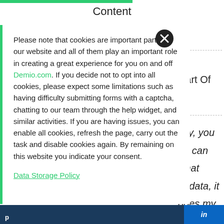Content
Please note that cookies are important parts of our website and all of them play an important role in creating a great experience for you on and off Demio.com. If you decide not to opt into all cookies, please expect some limitations such as having difficulty submitting forms with a captcha, chatting to our team through the help widget, and similar activities. If you are having issues, you can enable all cookies, refresh the page, carry out the task and disable cookies again. By remaining on this website you indicate your consent.
Data Storage Policy
Part Of
avy, you
ou can
␥ what
of data, it
does my
plem l
and